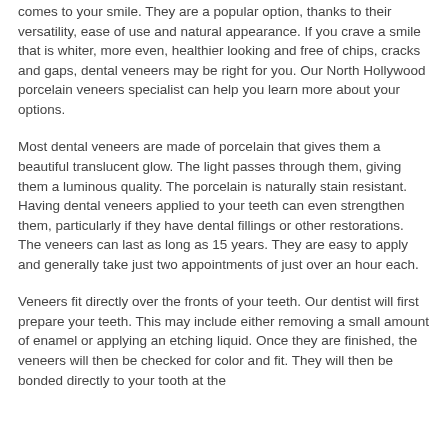comes to your smile. They are a popular option, thanks to their versatility, ease of use and natural appearance. If you crave a smile that is whiter, more even, healthier looking and free of chips, cracks and gaps, dental veneers may be right for you. Our North Hollywood porcelain veneers specialist can help you learn more about your options.
Most dental veneers are made of porcelain that gives them a beautiful translucent glow. The light passes through them, giving them a luminous quality. The porcelain is naturally stain resistant. Having dental veneers applied to your teeth can even strengthen them, particularly if they have dental fillings or other restorations. The veneers can last as long as 15 years. They are easy to apply and generally take just two appointments of just over an hour each.
Veneers fit directly over the fronts of your teeth. Our dentist will first prepare your teeth. This may include either removing a small amount of enamel or applying an etching liquid. Once they are finished, the veneers will then be checked for color and fit. They will then be bonded directly to your tooth at the